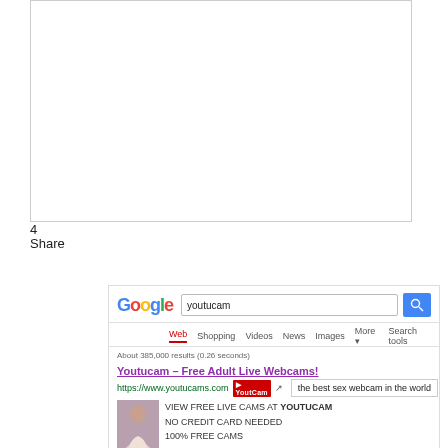4
Share
[Figure (screenshot): Google search results page showing a search for 'youtucam'. Results show an ad for 'Youtucam - Free Adult Live Webcams!' with URL https://www.youtucams.com, a YoutCam badge, a tooltip reading 'the best sex webcam in the world', an image of a woman, and text: VIEW FREE LIVE CAMS AT YOUTUCAM, NO CREDIT CARD NEEDED, 100% FREE CAMS.]